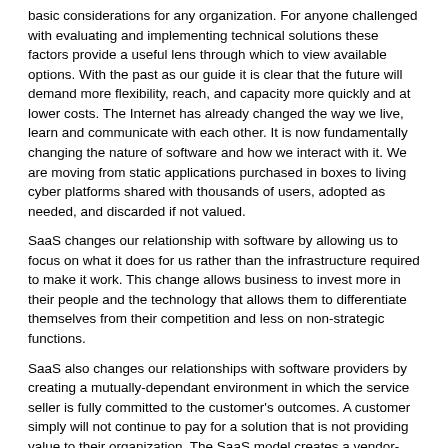basic considerations for any organization. For anyone challenged with evaluating and implementing technical solutions these factors provide a useful lens through which to view available options. With the past as our guide it is clear that the future will demand more flexibility, reach, and capacity more quickly and at lower costs. The Internet has already changed the way we live, learn and communicate with each other. It is now fundamentally changing the nature of software and how we interact with it. We are moving from static applications purchased in boxes to living cyber platforms shared with thousands of users, adopted as needed, and discarded if not valued.
SaaS changes our relationship with software by allowing us to focus on what it does for us rather than the infrastructure required to make it work. This change allows business to invest more in their people and the technology that allows them to differentiate themselves from their competition and less on non-strategic functions.
SaaS also changes our relationships with software providers by creating a mutually-dependant environment in which the service seller is fully committed to the customer's outcomes. A customer simply will not continue to pay for a solution that is not providing value to their organization. The SaaS model creates a vendor-vested relationship from the start and places the consumer in a very powerful position. Organizations best served by rapid access to state of the art technology, delivered with minimal internal resource requirements, and tremendous scalability and predictable costs over time should consider a SaaS-based option for physical security.
Bibliography: